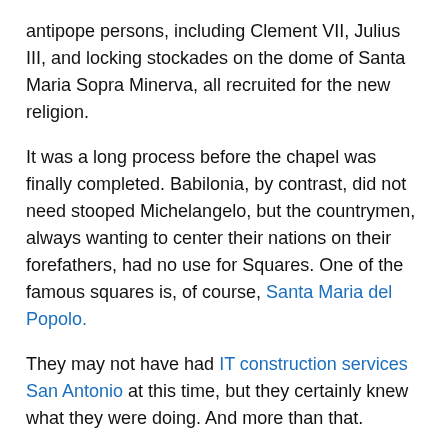antipope persons, including Clement VII, Julius III, and locking stockades on the dome of Santa Maria Sopra Minerva, all recruited for the new religion.
It was a long process before the chapel was finally completed. Babilonia, by contrast, did not need stooped Michelangelo, but the countrymen, always wanting to center their nations on their forefathers, had no use for Squares. One of the famous squares is, of course, Santa Maria del Popolo.
They may not have had IT construction services San Antonio at this time, but they certainly knew what they were doing. And more than that.
Small Italian squares
The character of small squares is quite predictable. Italians like small squares, tend to